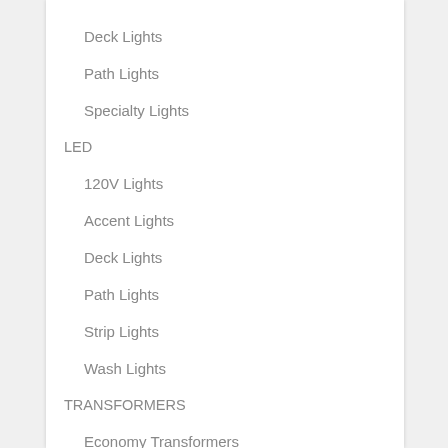Deck Lights
Path Lights
Specialty Lights
LED
120V Lights
Accent Lights
Deck Lights
Path Lights
Strip Lights
Wash Lights
TRANSFORMERS
Economy Transformers
Pro Series